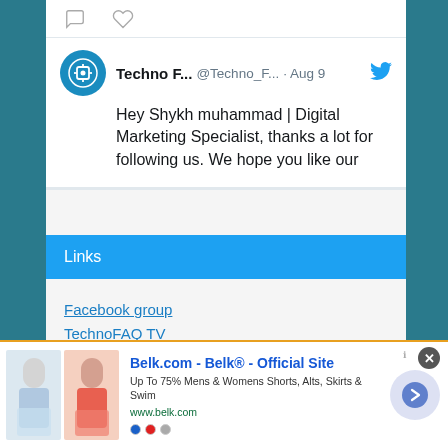[Figure (screenshot): A Twitter/social media card showing a tweet from 'Techno F...' (@Techno_F...) dated Aug 9, with a teal avatar icon and a Twitter bird. Tweet text: 'Hey Shykh muhammad | Digital Marketing Specialist, thanks a lot for following us. We hope you like our']
Links
Facebook group
TechnoFAQ TV
Webchat
Advertisement
[Figure (screenshot): Advertisement banner for Belk.com - Belk® Official Site. Shows two women in shorts/skirts. Text: 'Belk.com - Belk® - Official Site', 'Up To 75% Mens & Womens Shorts, Alts, Skirts & Swim', 'www.belk.com'. Has a close button (x) and a forward arrow button.]